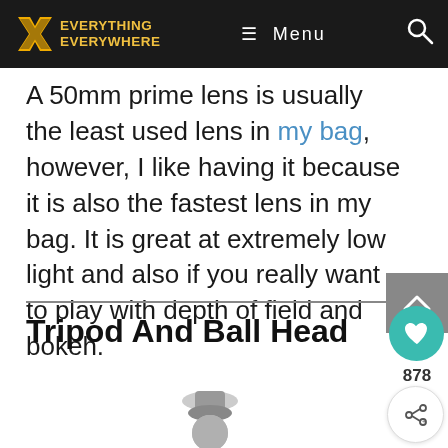EVERYTHING EVERYWHERE — Menu (navigation bar)
A 50mm prime lens is usually the least used lens in my bag, however, I like having it because it is also the fastest lens in my bag. It is great at extremely low light and also if you really want to play with depth of field and bokeh.
Tripod And Ball Head
[Figure (photo): Partial photo of a camera tripod with ball head at the bottom of the page]